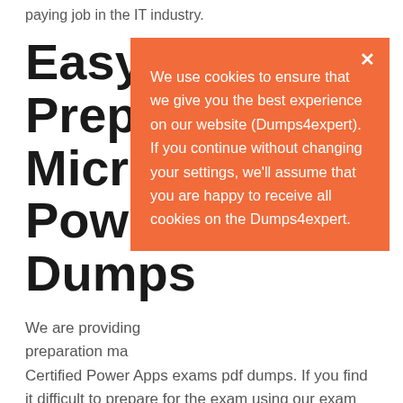paying job in the IT industry.
Easy to Prepare Microsoft Power Dumps
We are providing preparation material for Microsoft Certified Power Apps exams pdf dumps. If you find it difficult to prepare for the exam using our exam dumps, then you should keep in touch with our technical assistance, so you can resolve the issues that you face. We have easy use of interface and you won't face any problems while using our
We use cookies to ensure that we give you the best experience on our website (Dumps4expert). If you continue without changing your settings, we'll assume that you are happy to receive all cookies on the Dumps4expert.